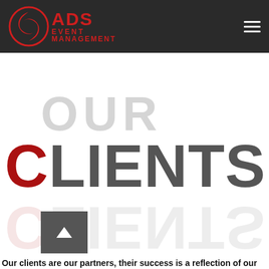ADS EVENT MANAGEMENT
OUR CLIENTS
Our clients are our partners, their success is a reflection of our